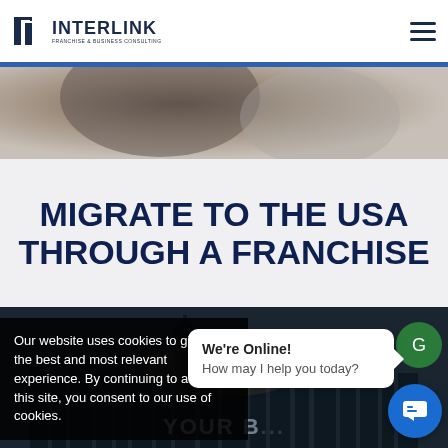[Figure (logo): Interlink Franchise & Business Consulting logo with icon and text]
[Figure (photo): Blurred dark hero image at top of page]
MIGRATE TO THE USA THROUGH A FRANCHISE
[Figure (photo): Dark city skyline night photo background]
Our website uses cookies to give you the best and most relevant experience. By continuing to access this site, you consent to our use of cookies.
We're Online!
How may I help you today?
YOUR B...